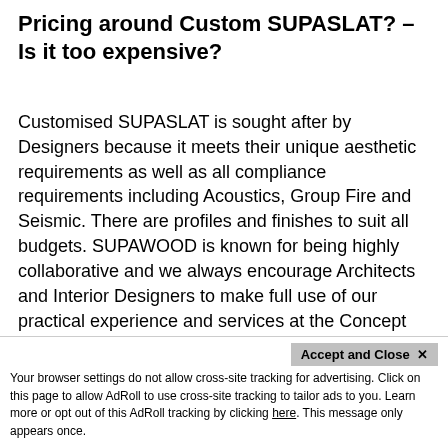Pricing around Custom SUPASLAT? – Is it too expensive?
Customised SUPASLAT is sought after by Designers because it meets their unique aesthetic requirements as well as all compliance requirements including Acoustics, Group Fire and Seismic. There are profiles and finishes to suit all budgets. SUPAWOOD is known for being highly collaborative and we always encourage Architects and Interior Designers to make full use of our practical experience and services at the Concept Stage to ensure that all considerations of Intent, Buildability, Compliance and Budget are met. We offer Value Management Workshops face to face, via Zoom or MS Teams over the phone. It's good to remember that we have 32 years of rolling projects and we are adept at providing over savings...
Accept and Close ✕
Your browser settings do not allow cross-site tracking for advertising. Click on this page to allow AdRoll to use cross-site tracking to tailor ads to you. Learn more or opt out of this AdRoll tracking by clicking here. This message only appears once.